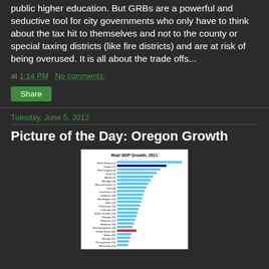public higher education. But GRBs are a powerful and seductive tool for city governments who only have to think about the tax hit to themselves and not to the county or special taxing districts (like fire districts) and are at risk of being overused. It is all about the trade offs...
at 1:14 PM   No comments:
Share
Tuesday, June 5, 2012
Picture of the Day: Oregon Growth
[Figure (bar-chart): Horizontal bar chart showing Real GDP Growth for US states in 2011, with states ranked 1-27+ visible. North Dakota is #1, Oregon is #2 (shown in dark blue/navy), United States average shown in red. Most states shown in light blue.]